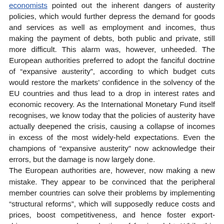economists pointed out the inherent dangers of austerity policies, which would further depress the demand for goods and services as well as employment and incomes, thus making the payment of debts, both public and private, still more difficult. This alarm was, however, unheeded. The European authorities preferred to adopt the fanciful doctrine of "expansive austerity", according to which budget cuts would restore the markets' confidence in the solvency of the EU countries and thus lead to a drop in interest rates and economic recovery. As the International Monetary Fund itself recognises, we know today that the policies of austerity have actually deepened the crisis, causing a collapse of incomes in excess of the most widely-held expectations. Even the champions of "expansive austerity" now acknowledge their errors, but the damage is now largely done. The European authorities are, however, now making a new mistake. They appear to be convinced that the peripheral member countries can solve their problems by implementing "structural reforms", which will supposedly reduce costs and prices, boost competitiveness, and hence foster export-driven recovery and a reduction of foreign debt. While this view does highlight some real problems, the belief that the